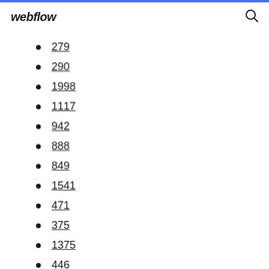webflow
279
290
1998
1117
942
888
849
1541
471
375
1375
446